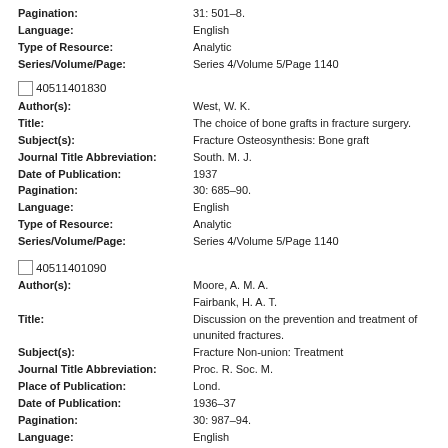Pagination: 31: 501-8.
Language: English
Type of Resource: Analytic
Series/Volume/Page: Series 4/Volume 5/Page 1140
40511401830
Author(s): West, W. K.
Title: The choice of bone grafts in fracture surgery.
Subject(s): Fracture Osteosynthesis: Bone graft
Journal Title Abbreviation: South. M. J.
Date of Publication: 1937
Pagination: 30: 685-90.
Language: English
Type of Resource: Analytic
Series/Volume/Page: Series 4/Volume 5/Page 1140
40511401090
Author(s): Moore, A. M. A. / Fairbank, H. A. T.
Title: Discussion on the prevention and treatment of ununited fractures.
Subject(s): Fracture Non-union: Treatment
Journal Title Abbreviation: Proc. R. Soc. M.
Place of Publication: Lond.
Date of Publication: 1936-37
Pagination: 30: 987-94.
Language: English
Type of Resource: Analytic
Series/Volume/Page: Series 4/Volume 5/Page 1140